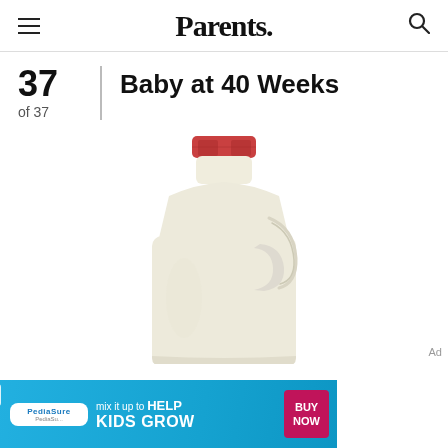Parents.
37 of 37
Baby at 40 Weeks
[Figure (photo): A gallon milk jug with a red cap and cream/off-white body, partially visible, representing the size of a baby at 40 weeks gestation.]
Ad
[Figure (infographic): PediaSure advertisement banner: 'mix it up to HELP KIDS GROW' with BUY NOW button, blue background.]